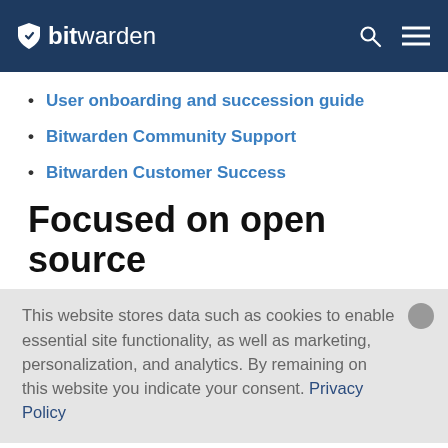bitwarden
User onboarding and succession guide
Bitwarden Community Support
Bitwarden Customer Success
Focused on open source
This website stores data such as cookies to enable essential site functionality, as well as marketing, personalization, and analytics. By remaining on this website you indicate your consent. Privacy Policy